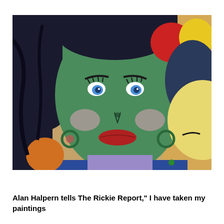[Figure (illustration): A colorful painting showing two female figures. The main figure on the left has a green-painted face with blue eyes, dark braided hair, red lips, and green hoop earrings, wearing a blue top. She has pink flowers behind her. To the right is a partial view of another figure with a yellow face, dark braided hair adorned with red and yellow flowers.]
Alan Halpern tells The Rickie Report," I have taken my paintings